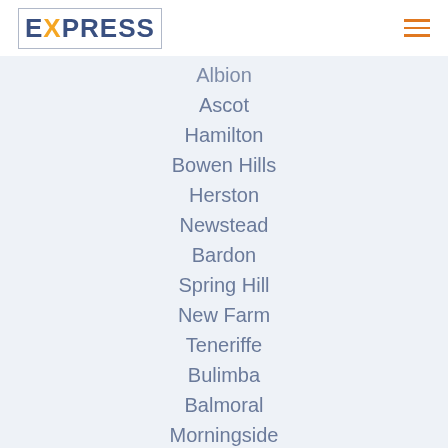EXPRESS
Albion
Ascot
Hamilton
Bowen Hills
Herston
Newstead
Bardon
Spring Hill
New Farm
Teneriffe
Bulimba
Balmoral
Morningside
Murarrie
Hemmant